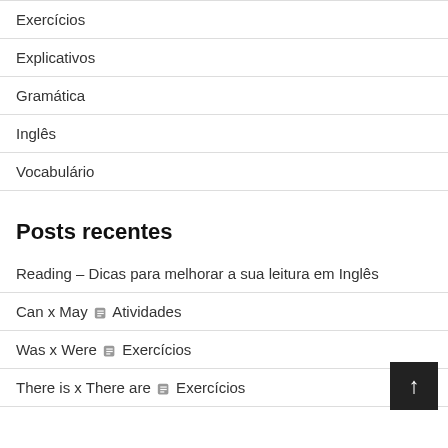Exercícios
Explicativos
Gramática
Inglês
Vocabulário
Posts recentes
Reading – Dicas para melhorar a sua leitura em Inglês
Can x May 🏷 Atividades
Was x Were 🏷 Exercícios
There is x There are 🏷 Exercícios